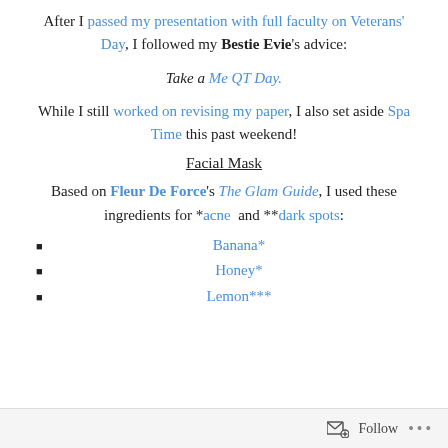After I passed my presentation with full faculty on Veterans' Day, I followed my Bestie Evie's advice:
Take a Me QT Day.
While I still worked on revising my paper, I also set aside Spa Time this past weekend!
Facial Mask
Based on Fleur De Force's The Glam Guide, I used these ingredients for *acne and **dark spots:
Banana*
Honey*
Lemon***
Follow